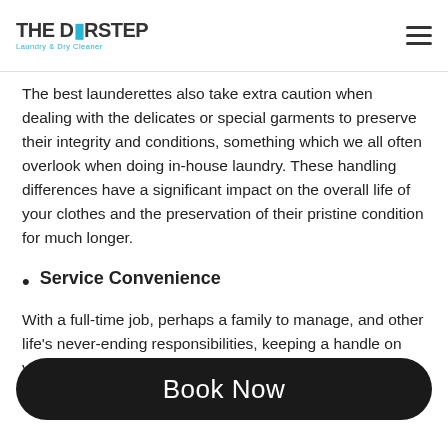The Doorstep Laundry & Dry Cleaner
The best launderettes also take extra caution when dealing with the delicates or special garments to preserve their integrity and conditions, something which we all often overlook when doing in-house laundry. These handling differences have a significant impact on the overall life of your clothes and the preservation of their pristine condition for much longer.
Service Convenience
With a full-time job, perhaps a family to manage, and other life's never-ending responsibilities, keeping a handle on your laundry can be workload for you. After all, who has the energy to get